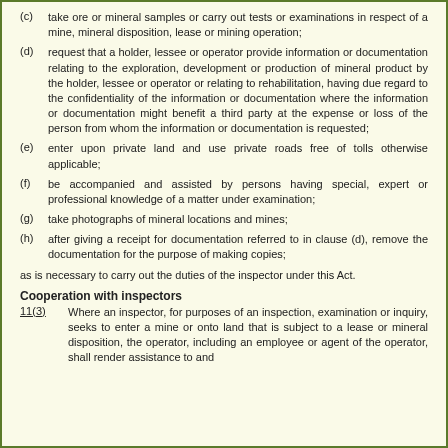(c) take ore or mineral samples or carry out tests or examinations in respect of a mine, mineral disposition, lease or mining operation;
(d) request that a holder, lessee or operator provide information or documentation relating to the exploration, development or production of mineral product by the holder, lessee or operator or relating to rehabilitation, having due regard to the confidentiality of the information or documentation where the information or documentation might benefit a third party at the expense or loss of the person from whom the information or documentation is requested;
(e) enter upon private land and use private roads free of tolls otherwise applicable;
(f) be accompanied and assisted by persons having special, expert or professional knowledge of a matter under examination;
(g) take photographs of mineral locations and mines;
(h) after giving a receipt for documentation referred to in clause (d), remove the documentation for the purpose of making copies;
as is necessary to carry out the duties of the inspector under this Act.
Cooperation with inspectors
11(3)   Where an inspector, for purposes of an inspection, examination or inquiry, seeks to enter a mine or onto land that is subject to a lease or mineral disposition, the operator, including an employee or agent of the operator, shall render assistance to and